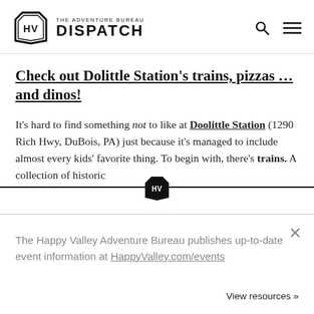THE ADVENTURE BUREAU DISPATCH
Check out Dolittle Station's trains, pizzas … and dinos!
It's hard to find something not to like at Doolittle Station (1290 Rich Hwy, DuBois, PA) just because it's managed to include almost every kids' favorite thing. To begin with, there's trains. A collection of historic
The Happy Valley Adventure Bureau publishes up-to-date event information at HappyValley.com/events
View resources »